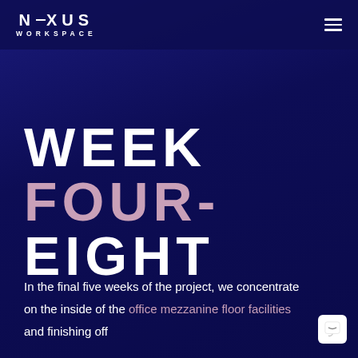NEXUS WORKSPACE
WEEK FOUR- EIGHT
In the final five weeks of the project, we concentrate on the inside of the office mezzanine floor facilities and finishing off the project overall. Because the project is